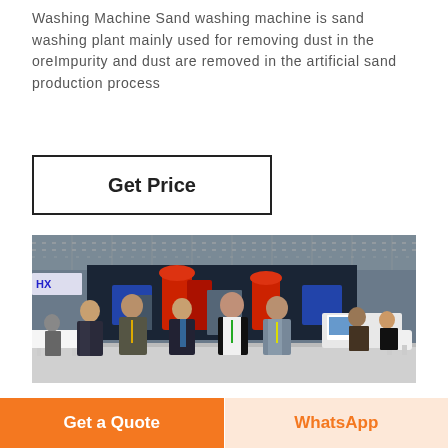Washing Machine Sand washing machine is sand washing plant mainly used for removing dust in the oreImpurity and dust are removed in the artificial sand production process
Get Price
[Figure (photo): Group photo of five people standing in an industrial exhibition hall in front of a large display backdrop showing industrial machinery (likely crushers/sand washing equipment). The hall shows overhead truss lighting and an 'HX' branded booth area.]
Get a Quote
WhatsApp